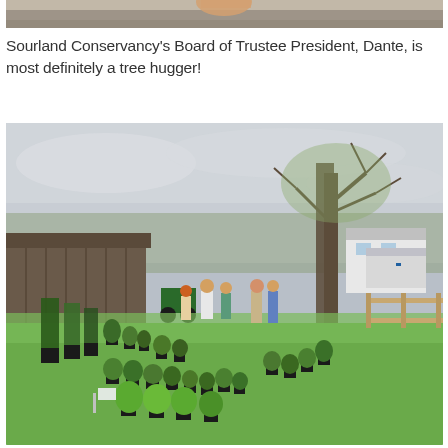[Figure (photo): Partial photo at top of page, cropped — appears to show a person outdoors, only the bottom portion visible.]
Sourland Conservancy's Board of Trustee President, Dante, is most definitely a tree hugger!
[Figure (photo): Outdoor photo showing several people standing among many potted plants and shrubs (in black nursery containers) arranged on a green lawn. A barn/shed structure is visible on the left, a white house and delivery truck in the background center, and a large bare tree and wooden fence on the right. The sky is overcast.]